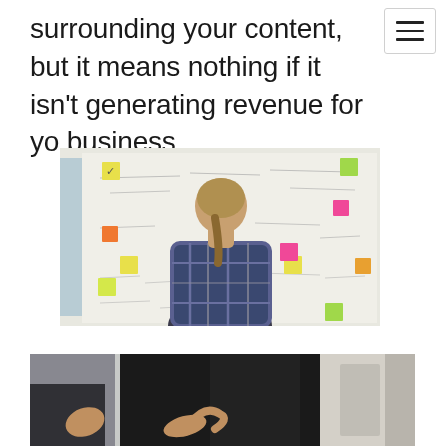surrounding your content, but it means nothing if it isn't generating revenue for your business.
[Figure (photo): Person with ponytail in plaid shirt viewed from behind, standing in front of a large whiteboard covered with sticky notes (yellow, green, pink, orange) and handwritten notes]
[Figure (photo): Two people in a meeting or discussion, partial view showing shoulders and arms, dark clothing, blurred background]